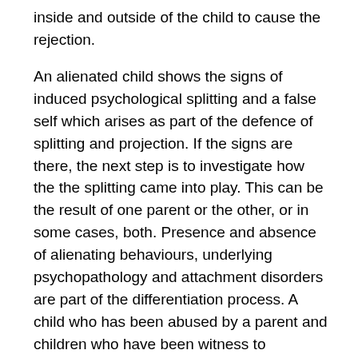inside and outside of the child to cause the rejection.
An alienated child shows the signs of induced psychological splitting and a false self which arises as part of the defence of splitting and projection. If the signs are there, the next step is to investigate how the the splitting came into play. This can be the result of one parent or the other, or in some cases, both. Presence and absence of alienating behaviours, underlying psychopathology and attachment disorders are part of the differentiation process. A child who has been abused by a parent and children who have been witness to domestic abuse, do not show the same signs of induced psychological splitting.
Treatment of alienation in children is undertaken using